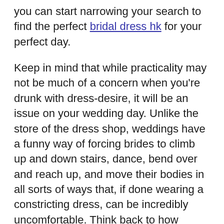you can start narrowing your search to find the perfect bridal dress hk for your perfect day.
Keep in mind that while practicality may not be much of a concern when you're drunk with dress-desire, it will be an issue on your wedding day. Unlike the store of the dress shop, weddings have a funny way of forcing brides to climb up and down stairs, dance, bend over and reach up, and move their bodies in all sorts of ways that, if done wearing a constricting dress, can be incredibly uncomfortable. Think back to how miserable you were the last time you broke in a new pair of shoes – ouch! Then think twice about getting the dress that makes you look fabulous, but makes it